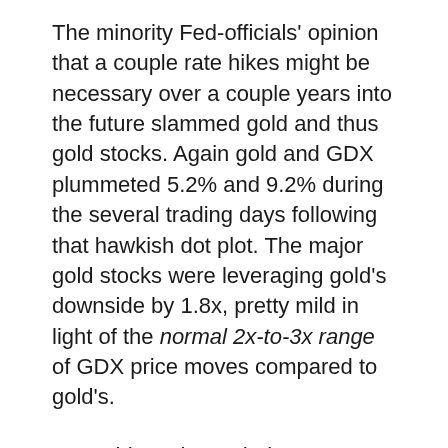The minority Fed-officials' opinion that a couple rate hikes might be necessary over a couple years into the future slammed gold and thus gold stocks. Again gold and GDX plummeted 5.2% and 9.2% during the several trading days following that hawkish dot plot. The major gold stocks were leveraging gold's downside by 1.8x, pretty mild in light of the normal 2x-to-3x range of GDX price moves compared to gold's.
But gold-stock psychology was so badly damaged by that extreme early-summer anomaly that the miners kept grinding lower even after gold bottomed and